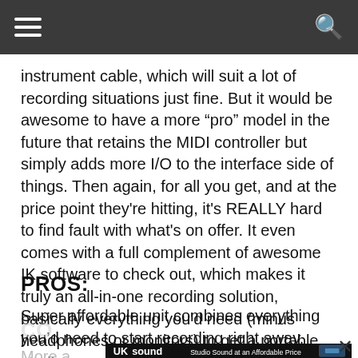[hamburger menu] [search icon]
instrument cable, which will suit a lot of recording situations just fine. But it would be awesome to have a more “pro” model in the future that retains the MIDI controller but simply adds more I/O to the interface side of things. Then again, for all you get, and at the price point they're hitting, it's REALLY hard to find fault with what's on offer. It even comes with a full complement of awesome IK software to check out, which makes it truly an all-in-one recording solution, basically everything you'd need (minus headphones or monitors) to get a portable studio up-and-running in no time.
PROS:
Super affordable unit combines everything you’d need to start recording right away.
CONS:
More a...
[Figure (other): UK Sound advertisement banner: 'UKsound Studio Sound at an Affordable Price' with product images on the right side. Black background with white text and a photo of audio equipment.]